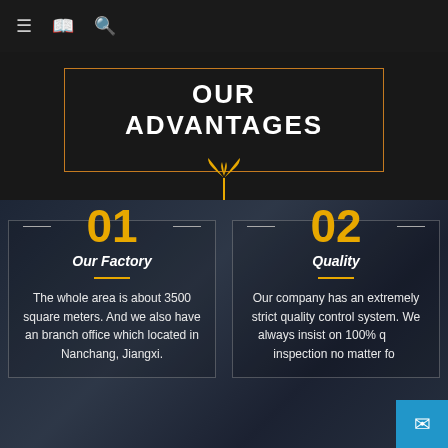Navigation bar with menu, book, and search icons
OUR ADVANTAGES
[Figure (illustration): Decorative gold stylized wheat/leaf icon with vertical line below, centered under title border]
01
Our Factory
The whole area is about 3500 square meters. And we also have an branch office which located in Nanchang, Jiangxi.
02
Quality
Our company has an extremely strict quality control system. We always insist on 100% quality inspection no matter for raw material or finished products.